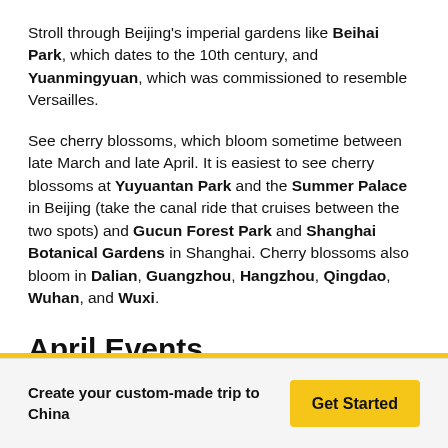Stroll through Beijing's imperial gardens like Beihai Park, which dates to the 10th century, and Yuanmingyuan, which was commissioned to resemble Versailles.
See cherry blossoms, which bloom sometime between late March and late April. It is easiest to see cherry blossoms at Yuyuantan Park and the Summer Palace in Beijing (take the canal ride that cruises between the two spots) and Gucun Forest Park and Shanghai Botanical Gardens in Shanghai. Cherry blossoms also bloom in Dalian, Guangzhou, Hangzhou, Qingdao, Wuhan, and Wuxi.
April Events
Shanghai Nanhui Peach Blossom Festival. Held in Shanghai's
Create your custom-made trip to China